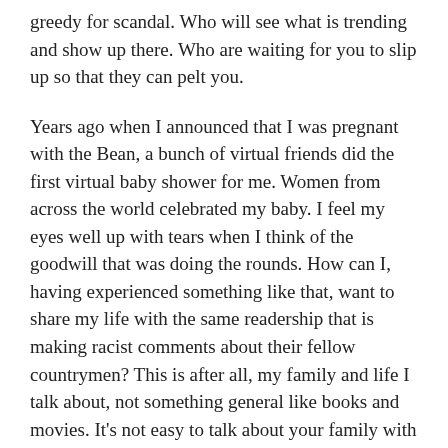greedy for scandal. Who will see what is trending and show up there. Who are waiting for you to slip up so that they can pelt you.
Years ago when I announced that I was pregnant with the Bean, a bunch of virtual friends did the first virtual baby shower for me. Women from across the world celebrated my baby. I feel my eyes well up with tears when I think of the goodwill that was doing the rounds. How can I, having experienced something like that, want to share my life with the same readership that is making racist comments about their fellow countrymen? This is after all, my family and life I talk about, not something general like books and movies. It's not easy to talk about your family with people who are busy googling to see what you look like. How does it matter? What matters is that I take the time out each day to share my life with you and you are betraying my trust.